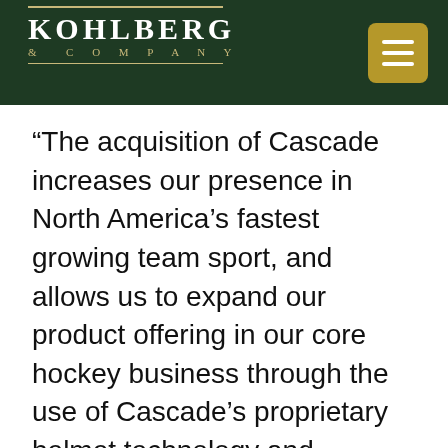KOHLBERG & COMPANY
“The acquisition of Cascade increases our presence in North America’s fastest growing team sport, and allows us to expand our product offering in our core hockey business through the use of Cascade’s proprietary helmet technology and manufacturing capabilities,” said Kevin Davis,